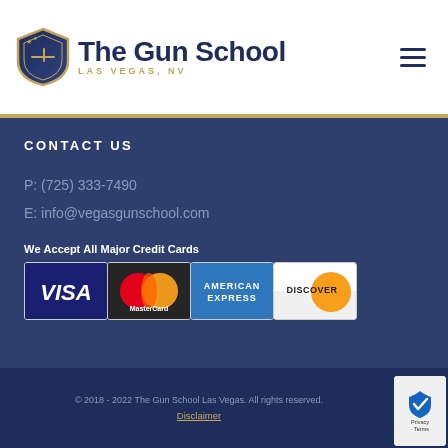The Gun School LAS VEGAS, NV
CONTACT US
P: (725) 333-7490
E: info@vegasgunschool.com
We Accept All Major Credit Cards
[Figure (logo): Credit card logos: VISA, MasterCard, American Express, Discover]
© 2018 - 2022 The Gun School Las Vegas. All rights reserved.
Disclaimer